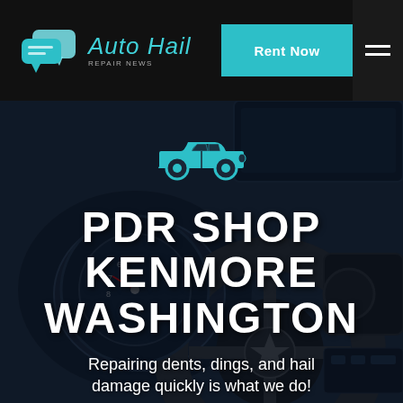[Figure (logo): Auto Hail Repair News logo with two speech bubble icons in teal and the company name in teal italic script with subtitle 'Repair News']
Rent Now
[Figure (photo): Dark car interior with steering wheel, dashboard gauges and controls, used as hero background]
[Figure (illustration): Teal car icon silhouette]
PDR SHOP KENMORE WASHINGTON
Repairing dents, dings, and hail damage quickly is what we do!